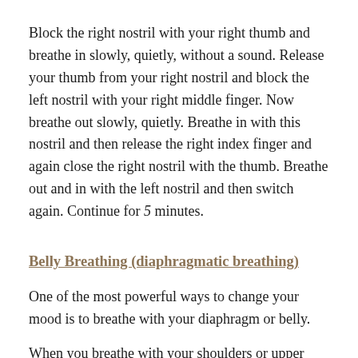Block the right nostril with your right thumb and breathe in slowly, quietly, without a sound. Release your thumb from your right nostril and block the left nostril with your right middle finger. Now breathe out slowly, quietly. Breathe in with this nostril and then release the right index finger and again close the right nostril with the thumb. Breathe out and in with the left nostril and then switch again. Continue for 5 minutes.
Belly Breathing (diaphragmatic breathing)
One of the most powerful ways to change your mood is to breathe with your diaphragm or belly.
When you breathe with your shoulders or upper chest you only use the top part of your lungs. Because the lungs are surrounded by the rib cage, the upper part can contract and. You will note that 33 to 40% of the...